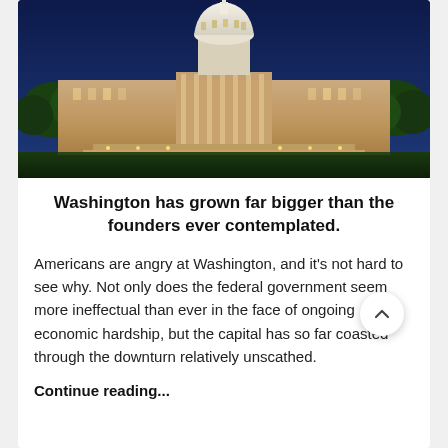[Figure (photo): Nighttime photograph of the United States Capitol building, illuminated against a deep blue sky, with steps and lawn in the foreground]
Washington has grown far bigger than the founders ever contemplated.
Americans are angry at Washington, and it's not hard to see why. Not only does the federal government seem more ineffectual than ever in the face of ongoing economic hardship, but the capital has so far coasted through the downturn relatively unscathed.
Continue reading...